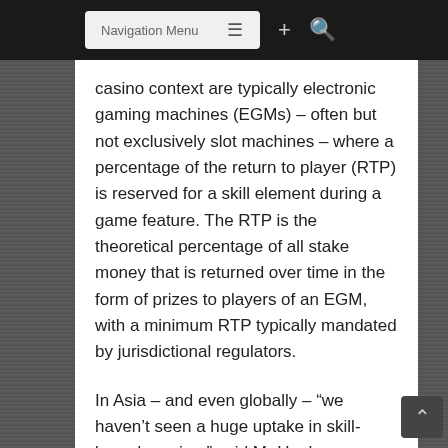Navigation Menu
casino context are typically electronic gaming machines (EGMs) – often but not exclusively slot machines – where a percentage of the return to player (RTP) is reserved for a skill element during a game feature. The RTP is the theoretical percentage of all stake money that is returned over time in the form of prizes to players of an EGM, with a minimum RTP typically mandated by jurisdictional regulators.
In Asia – and even globally – “we haven’t seen a huge uptake in skill-based gaming,” said Mr Hughes.
“We’re seeing more social elements of gaming – [products involving] playing or pooling with other people – playing with